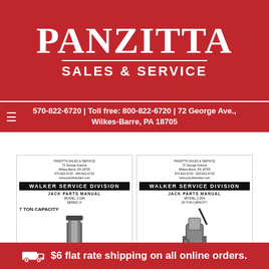PANZITTA SALES & SERVICE
570-822-6720 | Toll free: 800-822-6720 | 72 George Ave., Wilkes-Barre, PA 18705
[Figure (photo): Walker Service Division Jack Parts Manual Model J-199 Series A, 7 Ton Capacity jack illustration]
[Figure (photo): Walker Service Division Jack Parts Manual Model J-254 20 Ton Capacity jack illustration]
$6 flat rate shipping on all online orders.